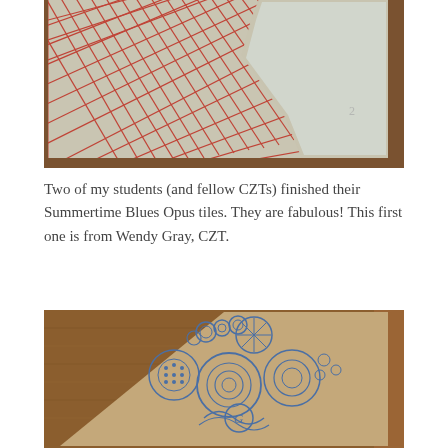[Figure (photo): Artwork photo showing a Zentangle tile with red crosshatch/diagonal stripe patterns on a beige/gray paper background, with a white abstract shape (possibly a bird or figure) in the upper right portion.]
Two of my students (and fellow CZTs) finished their Summertime Blues Opus tiles. They are fabulous! This first one is from Wendy Gray, CZT.
[Figure (photo): A Zentangle Opus tile in blue tones on tan/kraft paper, featuring intricate circular patterns, spirals, starfish, bubbles and other decorative motifs drawn in blue ink, placed on a wooden surface.]